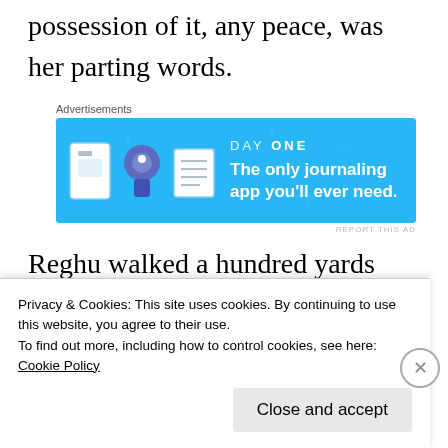possession of it, any peace, was her parting words.
[Figure (screenshot): Advertisement for Day One journaling app with blue background and app icons]
Reghu walked a hundred yards and came upon a mango tree near the river bank and as instructed started burying the Lord’s Kadali there. A benevolent spirit came down the tree
Privacy & Cookies: This site uses cookies. By continuing to use this website, you agree to their use.
To find out more, including how to control cookies, see here: Cookie Policy